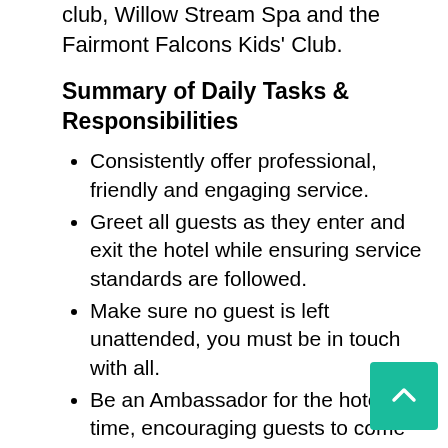club, Willow Stream Spa and the Fairmont Falcons Kids' Club.
Summary of Daily Tasks & Responsibilities
Consistently offer professional, friendly and engaging service.
Greet all guests as they enter and exit the hotel while ensuring service standards are followed.
Make sure no guest is left unattended, you must be in touch with all.
Be an Ambassador for the hotel at all time, encouraging guests to come back.
Engage in conversation with first t visitors, showing them the lobby and